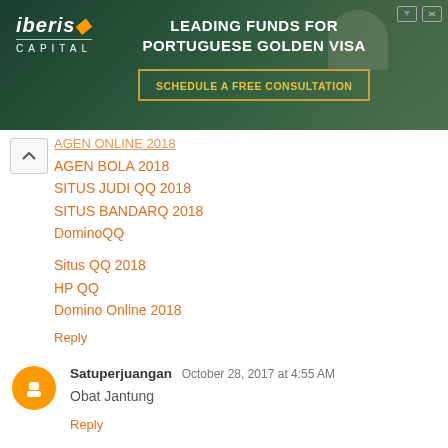[Figure (screenshot): Advertisement banner for Iberis Capital - Leading Funds for Portuguese Golden Visa with Schedule a Free Consultation button]
AGEN BOLA 2018
SITUS JUDI QQ 2018
SITUS BANDARQ 2018
DominoQQ
Situs QQ 2018
HP QQ
Domino Online 2018
Reply
Satuperjuangan  October 28, 2017 at 4:55 AM
Obat Jantung
Reply
doctor lee  November 2, 2017 at 4:02 AM